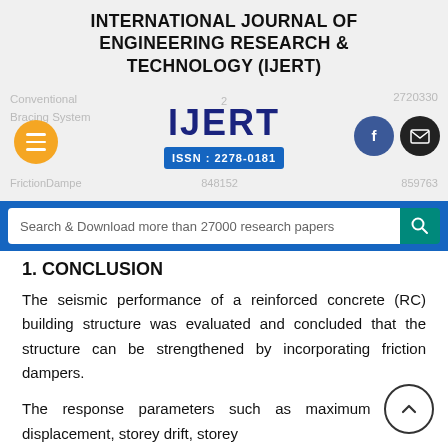INTERNATIONAL JOURNAL OF ENGINEERING RESEARCH & TECHNOLOGY (IJERT)
[Figure (logo): IJERT logo with ISSN: 2278-0181, orange hamburger menu button, Facebook and email social buttons, and background watermark text showing Conventional Bracing System, 2720330, FrictionDamper, 848152, 859763]
[Figure (screenshot): Search bar with text 'Search & Download more than 27000 research papers' and teal search button]
1. CONCLUSION
The seismic performance of a reinforced concrete (RC) building structure was evaluated and concluded that the structure can be strengthened by incorporating friction dampers.
The response parameters such as maximum storey displacement, storey drift, storey